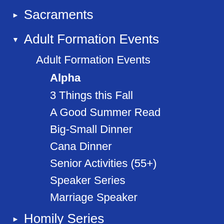▶ Sacraments
▼ Adult Formation Events
Adult Formation Events
Alpha
3 Things this Fall
A Good Summer Read
Big-Small Dinner
Cana Dinner
Senior Activities (55+)
Speaker Series
Marriage Speaker
▶ Homily Series
▶ Family Events